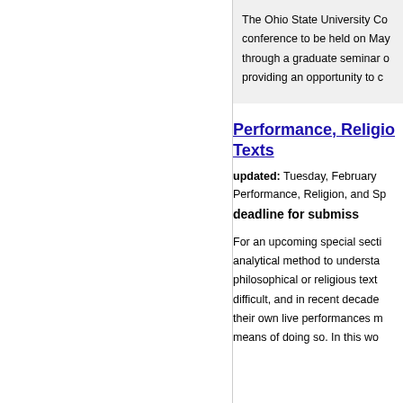The Ohio State University Co... conference to be held on May... through a graduate seminar o... providing an opportunity to c...
Performance, Religio... Texts
updated: Tuesday, February... Performance, Religion, and Sp... deadline for submiss...
For an upcoming special secti... analytical method to understa... philosophical or religious text... difficult, and in recent decade... their own live performances m... means of doing so. In this wo...